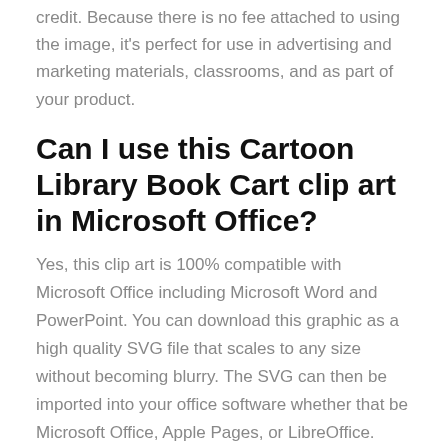credit. Because there is no fee attached to using the image, it's perfect for use in advertising and marketing materials, classrooms, and as part of your product.
Can I use this Cartoon Library Book Cart clip art in Microsoft Office?
Yes, this clip art is 100% compatible with Microsoft Office including Microsoft Word and PowerPoint. You can download this graphic as a high quality SVG file that scales to any size without becoming blurry. The SVG can then be imported into your office software whether that be Microsoft Office, Apple Pages, or LibreOffice.
Can I print the Cartoon Library Book Cart clip art?
Yes, this picture is suitable for printing, and will look great